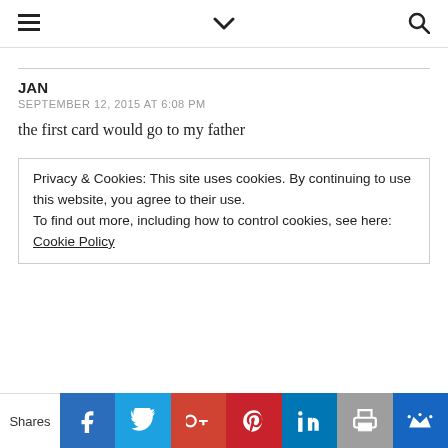☰ ∨ 🔍
JAN
SEPTEMBER 12, 2015 AT 6:08 PM
the first card would go to my father
Privacy & Cookies: This site uses cookies. By continuing to use this website, you agree to their use.
To find out more, including how to control cookies, see here: Cookie Policy
Shares [Facebook] [Twitter] [Google+] [Pinterest] [LinkedIn] [Print] [Crown]